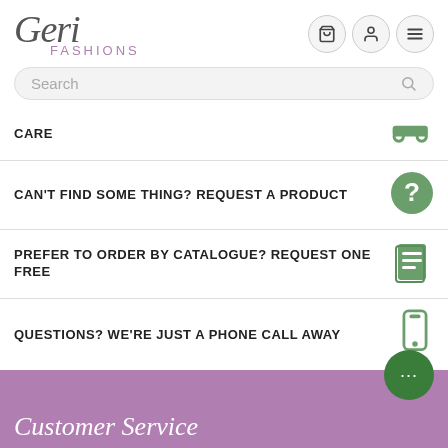[Figure (logo): Geri Fashions logo with italic serif Geri text and purple FASHIONS subtitle]
Search
CARE
CAN'T FIND SOME THING? REQUEST A PRODUCT
PREFER TO ORDER BY CATALOGUE? REQUEST ONE FREE
QUESTIONS? WE'RE JUST A PHONE CALL AWAY
Customer Service